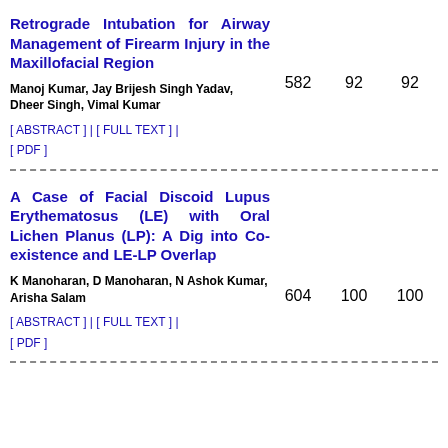Retrograde Intubation for Airway Management of Firearm Injury in the Maxillofacial Region
582   92   92
Manoj Kumar, Jay Brijesh Singh Yadav, Dheer Singh, Vimal Kumar
[ ABSTRACT ] | [ FULL TEXT ] | [ PDF ]
A Case of Facial Discoid Lupus Erythematosus (LE) with Oral Lichen Planus (LP): A Dig into Co-existence and LE-LP Overlap
604   100   100
K Manoharan, D Manoharan, N Ashok Kumar, Arisha Salam
[ ABSTRACT ] | [ FULL TEXT ] | [ PDF ]